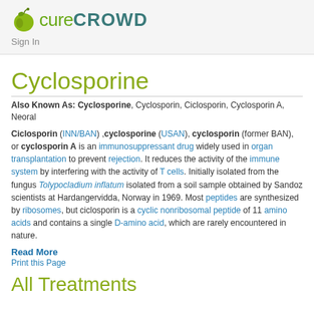[Figure (logo): CureCrowd logo with green apple icon and text 'cureCROWD']
Sign In
Cyclosporine
Also Known As: Cyclosporine, Cyclosporin, Ciclosporin, Cyclosporin A, Neoral
Ciclosporin (INN/BAN) ,cyclosporine (USAN), cyclosporin (former BAN), or cyclosporin A is an immunosuppressant drug widely used in organ transplantation to prevent rejection. It reduces the activity of the immune system by interfering with the activity of T cells. Initially isolated from the fungus Tolypocladium inflatum isolated from a soil sample obtained by Sandoz scientists at Hardangervidda, Norway in 1969. Most peptides are synthesized by ribosomes, but ciclosporin is a cyclic nonribosomal peptide of 11 amino acids and contains a single D-amino acid, which are rarely encountered in nature.
Read More
Print this Page
All Treatments